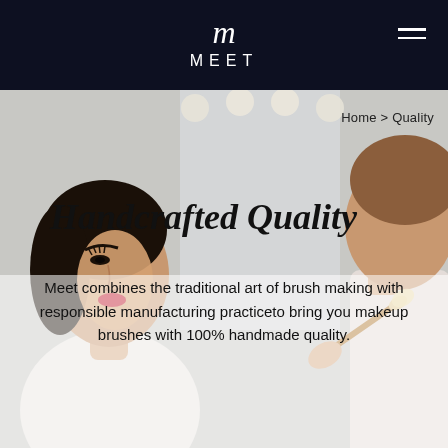MEET
[Figure (photo): Two women in a beauty/makeup scene. Left: a woman with dark hair and red lipstick looking in a mirror. Right: a woman applying makeup brush to another person's face. Background is light grey/bathroom setting with vanity light bulbs.]
Home > Quality
Handcrafted Quality
Meet combines the traditional art of brush making with responsible manufacturing practiceto bring you makeup brushes with 100% handmade quality.